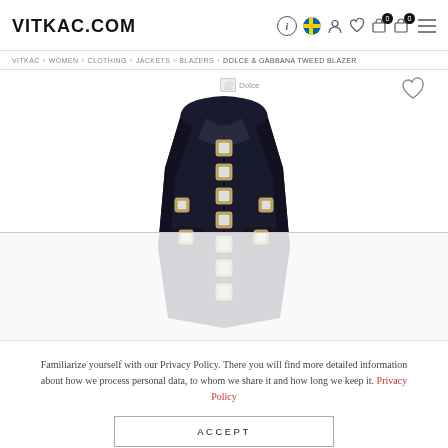VITKAC.COM
VITKAC > WOMEN > CLOTHING > JACKETS > BLAZERS > DOLCE & GABBANA TWEED BLAZER
[Figure (photo): Black Dolce & Gabbana tweed blazer with jeweled buttons, front view on white background]
Familiarize yourself with our Privacy Policy. There you will find more detailed information about how we process personal data, to whom we share it and how long we keep it. Privacy Policy
ACCEPT